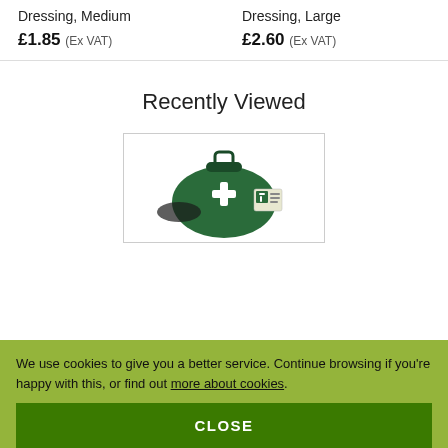Dressing, Medium
£1.85 (Ex VAT)
Dressing, Large
£2.60 (Ex VAT)
Recently Viewed
[Figure (photo): Green first aid kit bag with white cross and a first aid advice booklet]
We use cookies to give you a better service. Continue browsing if you're happy with this, or find out more about cookies.
CLOSE